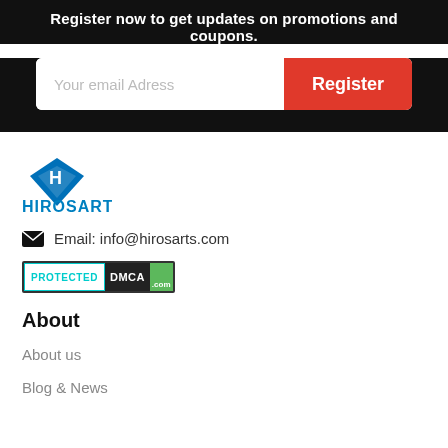Register now to get updates on promotions and coupons.
[Figure (other): Email registration form with text input placeholder 'Your email Adress' and a red 'Register' button]
[Figure (logo): Hirosart logo: blue diamond shape with H letter and HIROSART text below in blue]
Email: info@hirosarts.com
[Figure (other): DMCA Protected badge]
About
About us
Blog & News